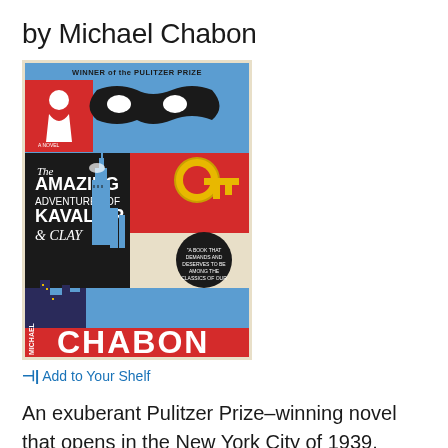by Michael Chabon
[Figure (illustration): Book cover of 'The Amazing Adventures of Kavalier & Clay' by Michael Chabon. Colorful graphic design with red, blue, black panels showing a superhero mask, a silhouette figure, the Empire State Building, a key, and bold text reading 'CHABON'. Banner at top reads 'WINNER of the PULITZER PRIZE'.]
⊢| Add to Your Shelf
An exuberant Pulitzer Prize–winning novel that opens in the New York City of 1939. While World War II rages in Europe, a young escape artist and his cousin dive into the American comic book